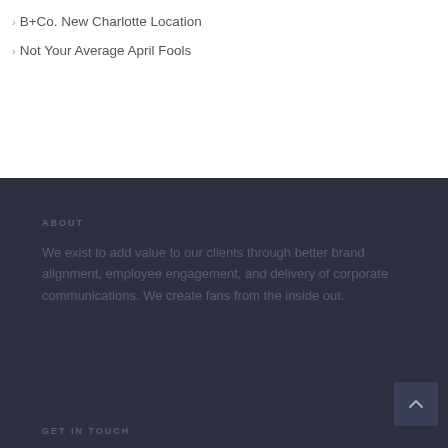B+Co. New Charlotte Location
Not Your Average April Fools
ABOUT
We exist to add value to our clients through better brand alignment, employee engagement, and delivery of corporate communications. We create fans from the inside out.
GET IN TOUCH